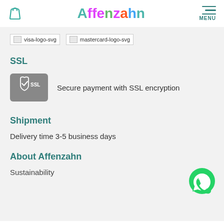Affenzahn
[Figure (logo): Broken image placeholder for visa-logo-svg]
[Figure (logo): Broken image placeholder for mastercard-logo-svg]
SSL
[Figure (logo): SSL badge icon with shield and checkmark]
Secure payment with SSL encryption
Shipment
Delivery time 3-5 business days
About Affenzahn
Sustainability